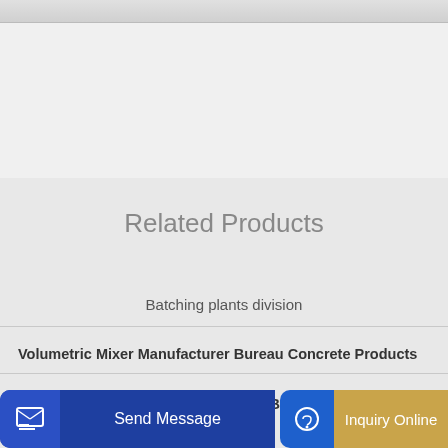Related Products
Batching plants division
Volumetric Mixer Manufacturer Bureau Concrete Products
33m Truck Mounted Concrete Pump Boom Kit manufacturers
Send Message
Inquiry Online